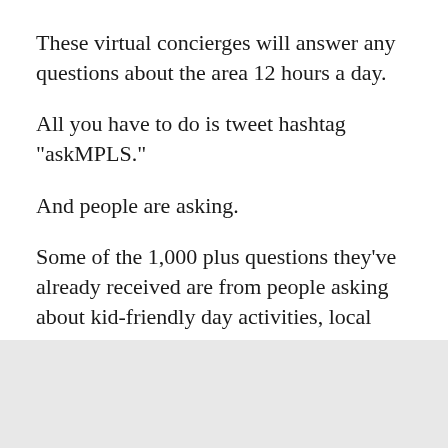These virtual concierges will answer any questions about the area 12 hours a day.
All you have to do is tweet hashtag "askMPLS."
And people are asking.
Some of the 1,000 plus questions they've already received are from people asking about kid-friendly day activities, local towing services and transportation via Lightrail, NiceRide or cab.
Cavan Reagan Reichmann, also with Spong, said some questions stick out more than others.